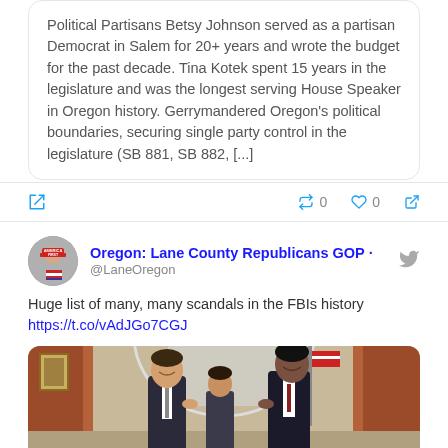Political Partisans Betsy Johnson served as a partisan Democrat in Salem for 20+ years and wrote the budget for the past decade. Tina Kotek spent 15 years in the legislature and was the longest serving House Speaker in Oregon history. Gerrymandered Oregon's political boundaries, securing single party control in the legislature (SB 881, SB 882, [...]
Oregon: Lane County Republicans GOP @LaneOregon
Huge list of many, many scandals in the FBIs history
https://t.co/vAdJGo7CGJ
[Figure (photo): Photo showing two men in suits shaking hands in what appears to be the Oval Office, with a third person visible in the background, American flag and curtains visible]